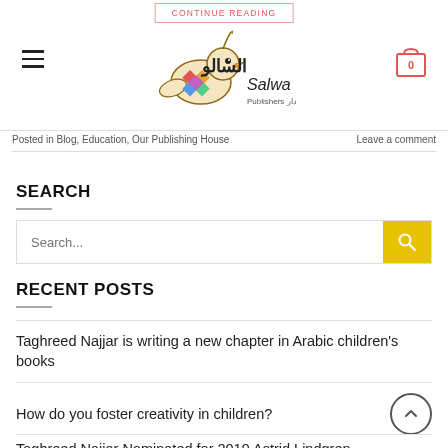Salwa Publishers logo with hamburger menu and cart icon
Posted in Blog, Education, Our Publishing House   Leave a comment
SEARCH
Search...
RECENT POSTS
Taghreed Najjar is writing a new chapter in Arabic children’s books
How do you foster creativity in children?
Taghreed Najjar Nominated for 2019 Astrid Lindgren